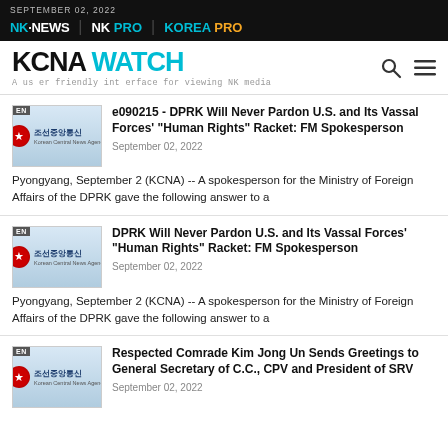SEPTEMBER 02, 2022 | NK NEWS | NK PRO | KOREA PRO
KCNA WATCH - A user friendly interface for viewing NK media
e090215 - DPRK Will Never Pardon U.S. and Its Vassal Forces' "Human Rights" Racket: FM Spokesperson — September 02, 2022 — Pyongyang, September 2 (KCNA) -- A spokesperson for the Ministry of Foreign Affairs of the DPRK gave the following answer to a
DPRK Will Never Pardon U.S. and Its Vassal Forces' "Human Rights" Racket: FM Spokesperson — September 02, 2022 — Pyongyang, September 2 (KCNA) -- A spokesperson for the Ministry of Foreign Affairs of the DPRK gave the following answer to a
Respected Comrade Kim Jong Un Sends Greetings to General Secretary of C.C., CPV and President of SRV — September 02, 2022